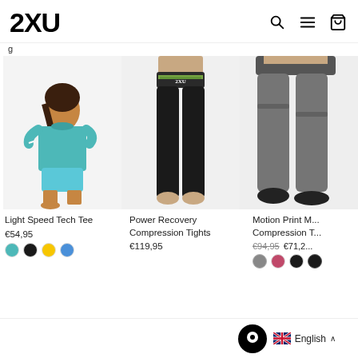[Figure (logo): 2XU brand logo in bold black text]
[Figure (photo): Woman wearing teal Light Speed Tech Tee and matching shorts, kneeling pose]
Light Speed Tech Tee
€54,95
[Figure (photo): Black Power Recovery Compression Tights shown on model from waist down, with green/camo waistband]
Power Recovery Compression Tights
€119,95
[Figure (photo): Grey Motion Print Mid-Rise Compression Tights on model from waist down, partially cropped]
Motion Print M... Compression T...
€94,95  €71,2...
English